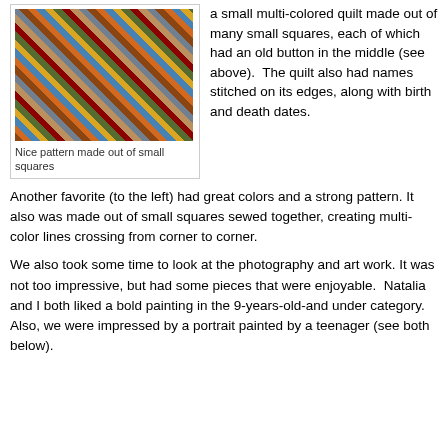[Figure (photo): A multi-colored quilt made out of many small squares arranged in a diagonal pattern]
Nice pattern made out of small squares
a small multi-colored quilt made out of many small squares, each of which had an old button in the middle (see above).  The quilt also had names stitched on its edges, along with birth and death dates.
Another favorite (to the left) had great colors and a strong pattern. It also was made out of small squares sewed together, creating multi-color lines crossing from corner to corner.
We also took some time to look at the photography and art work. It was not too impressive, but had some pieces that were enjoyable.  Natalia and I both liked a bold painting in the 9-years-old-and under category.  Also, we were impressed by a portrait painted by a teenager (see both below).